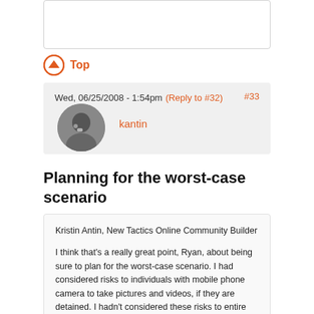[Figure (other): Empty white content box at top of page]
Top
Wed, 06/25/2008 - 1:54pm (Reply to #32) #33
[Figure (photo): Circular avatar photo of user kantin]
kantin
Planning for the worst-case scenario
Kristin Antin, New Tactics Online Community Builder
I think that's a really great point, Ryan, about being sure to plan for the worst-case scenario. I had considered risks to individuals with mobile phone camera to take pictures and videos, if they are detained. I hadn't considered these risks to entire film crews and others involved in the process - but the same risk certainly applies, if not more-